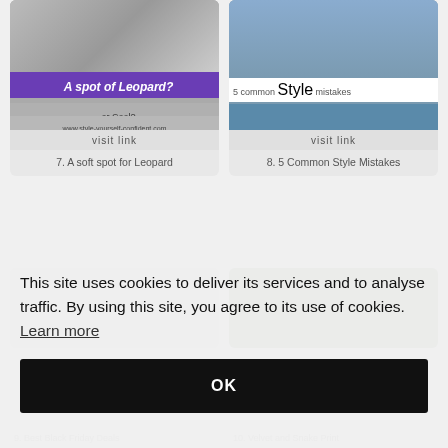[Figure (screenshot): Card showing leopard print fashion image with text 'A spot of Leopard? or Cool?' on purple/gray banner, visit link button]
7. A soft spot for Leopard
[Figure (screenshot): Card showing woman in blue denim shirt with headwrap, text '5 common Style mistakes', visit link button]
8. 5 Common Style Mistakes
This site uses cookies to deliver its services and to analyse traffic. By using this site, you agree to its use of cookies. Learn more
OK
9. Best Black Friday Deals
10. Velvet and Snake Print